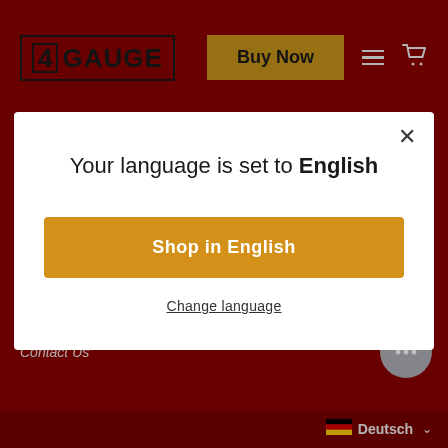[Figure (screenshot): 4 Gauge brand logo in black box on dark red background]
Buy Now
CUSTOMER SUPPORT
SHIPPING & RETURNS
Your language is set to English
Shop in English
Change language
Terms of Service
Refund policy
Contact Us
Deutsch